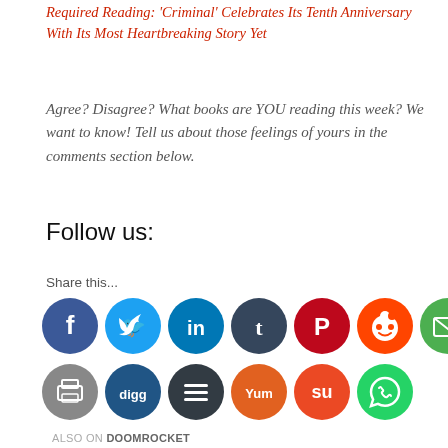Required Reading: 'Criminal' Celebrates Its Tenth Anniversary With Its Most Heartbreaking Story Yet
Agree? Disagree? What books are YOU reading this week? We want to know! Tell us about those feelings of yours in the comments section below.
Follow us:
Share this...
[Figure (infographic): Row of social media share buttons: Facebook (blue), Twitter (light blue), LinkedIn (dark blue), Tumblr (dark navy), Pinterest (red), Reddit (orange-red), Email (green)]
[Figure (infographic): Row of social media share buttons: Print (gray), Digg (blue), Buffer (dark teal), Yummly (orange), StumbleUpon (red-orange), WhatsApp (green)]
ALSO ON DOOMROCKET
[Figure (photo): Thumbnail image of a cartoon pony character with purple mane, wide eyes]
[Figure (photo): Thumbnail image of a dark-haired female comic character looking intense]
rs ago • 1 comment
3 years ago •